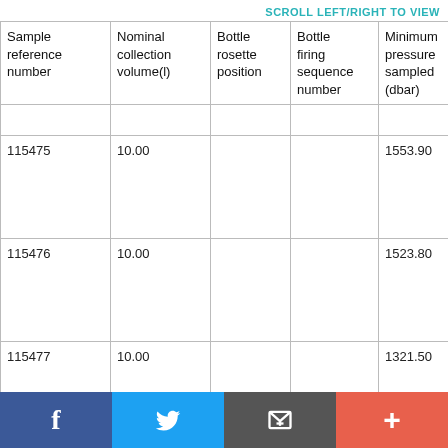SCROLL LEFT/RIGHT TO VIEW
| Sample reference number | Nominal collection volume(l) | Bottle rosette position | Bottle firing sequence number | Minimum pressure sampled (dbar) | Maximum pressure sampled (dbar) |
| --- | --- | --- | --- | --- | --- |
|  |  |  |  |  |  |
| 115475 | 10.00 |  |  | 1553.90 | 1555.40 |
| 115476 | 10.00 |  |  | 1523.80 | 1525.30 |
| 115477 | 10.00 |  |  | 1321.50 | 1323.00 |
f  [Twitter bird]  [envelope]  +